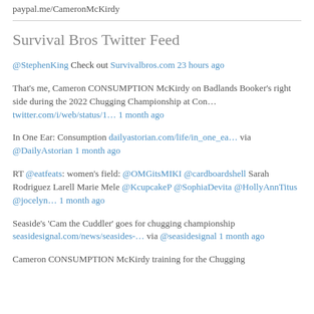paypal.me/CameronMcKirdy
Survival Bros Twitter Feed
@StephenKing Check out Survivalbros.com 23 hours ago
That's me, Cameron CONSUMPTION McKirdy on Badlands Booker's right side during the 2022 Chugging Championship at Con… twitter.com/i/web/status/1… 1 month ago
In One Ear: Consumption dailyastorian.com/life/in_one_ea… via @DailyAstorian 1 month ago
RT @eatfeats: women's field: @OMGitsMIKI @cardboardshell Sarah Rodriguez Larell Marie Mele @KcupcakeP @SophiaDevita @HollyAnnTitus @jocelyn… 1 month ago
Seaside's 'Cam the Cuddler' goes for chugging championship seasidesignal.com/news/seasides-… via @seasidesignal 1 month ago
Cameron CONSUMPTION McKirdy training for the Chugging